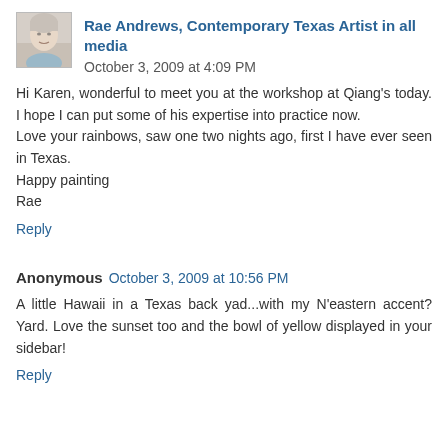[Figure (photo): Small avatar photo of a woman with gray/blonde hair against a light background]
Rae Andrews, Contemporary Texas Artist in all media  October 3, 2009 at 4:09 PM
Hi Karen, wonderful to meet you at the workshop at Qiang's today. I hope I can put some of his expertise into practice now.
Love your rainbows, saw one two nights ago, first I have ever seen in Texas.
Happy painting
Rae
Reply
Anonymous  October 3, 2009 at 10:56 PM
A little Hawaii in a Texas back yad...with my N'eastern accent? Yard. Love the sunset too and the bowl of yellow displayed in your sidebar!
Reply